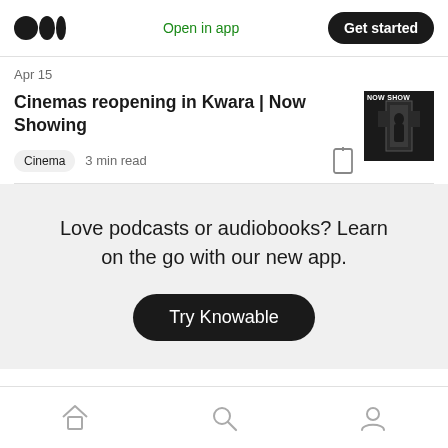Open in app | Get started
Apr 15
Cinemas reopening in Kwara | Now Showing
Cinema  3 min read
[Figure (photo): Thumbnail image showing a movie poster with 'NOW SHOW' text and a silhouette figure]
Love podcasts or audiobooks? Learn on the go with our new app.
Try Knowable